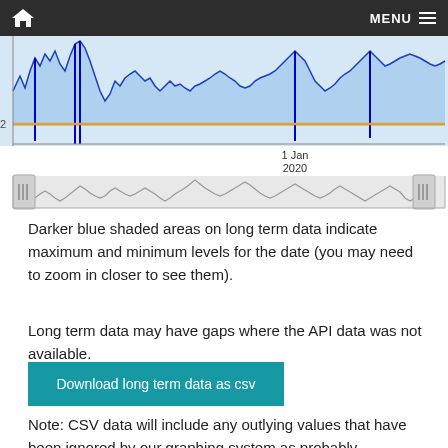MENU
[Figure (continuous-plot): Long-term time series chart showing data values over time with blue shaded area chart (showing max/min range), an orange/yellow horizontal threshold line at 0.2, and a range selector below with gray waveform minimap and two slider handles. Date label '1 Jan 2020' shown on the minimap.]
Darker blue shaded areas on long term data indicate maximum and minimum levels for the date (you may need to zoom in closer to see them).
Long term data may have gaps where the API data was not available.
Download long term data as csv
Note: CSV data will include any outlying values that have been ignored by our graphing system as probably erroneous (eg,